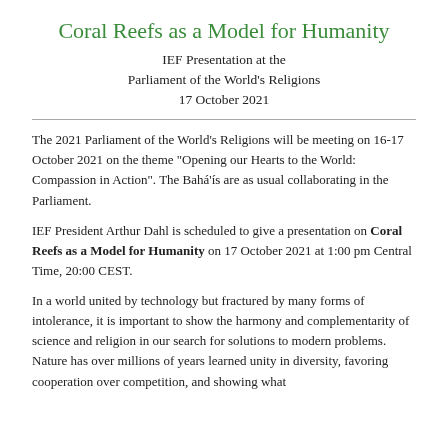Coral Reefs as a Model for Humanity
IEF Presentation at the
Parliament of the World's Religions
17 October 2021
The 2021 Parliament of the World's Religions will be meeting on 16-17 October 2021 on the theme "Opening our Hearts to the World: Compassion in Action". The Bahá'ís are as usual collaborating in the Parliament.
IEF President Arthur Dahl is scheduled to give a presentation on Coral Reefs as a Model for Humanity on 17 October 2021 at 1:00 pm Central Time, 20:00 CEST.
In a world united by technology but fractured by many forms of intolerance, it is important to show the harmony and complementarity of science and religion in our search for solutions to modern problems. Nature has over millions of years learned unity in diversity, favoring cooperation over competition, and showing what